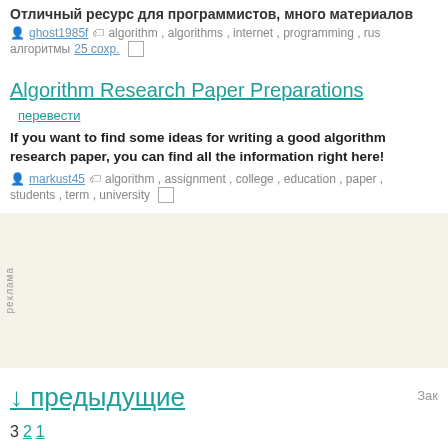Отличный ресурс для программистов, много материалов
ghost1985f  algorithm , algorithms , internet , programming , rus алгоритмы  25 сохр.
Algorithm Research Paper Preparations  перевести
If you want to find some ideas for writing a good algorithm research paper, you can find all the information right here!
markust45  algorithm , assignment , college , education , paper , students , term , university
[Figure (other): Advertisement banner with light beige background and vertical 'реклама' label on left side]
↓ предыдущие  Зак
3  2  1
algorithm  Найти  в этом р